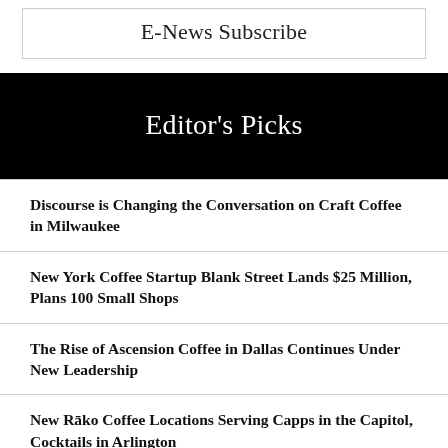E-News Subscribe
Editor's Picks
Discourse is Changing the Conversation on Craft Coffee in Milwaukee
New York Coffee Startup Blank Street Lands $25 Million, Plans 100 Small Shops
The Rise of Ascension Coffee in Dallas Continues Under New Leadership
New Rāko Coffee Locations Serving Capps in the Capitol, Cocktails in Arlington
Etzinger Gets Hands On with the Etz-I and EtzMAN Manual